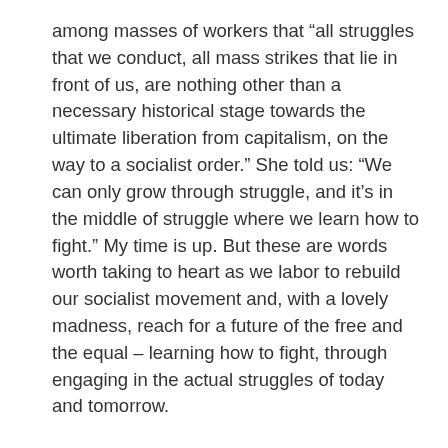among masses of workers that “all struggles that we conduct, all mass strikes that lie in front of us, are nothing other than a necessary historical stage towards the ultimate liberation from capitalism, on the way to a socialist order.” She told us: “We can only grow through struggle, and it’s in the middle of struggle where we learn how to fight.” My time is up. But these are words worth taking to heart as we labor to rebuild our socialist movement and, with a lovely madness, reach for a future of the free and the equal – learning how to fight, through engaging in the actual struggles of today and tomorrow.